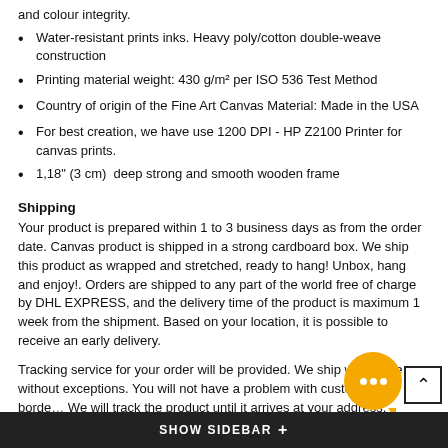and colour integrity.
Water-resistant prints inks. Heavy poly/cotton double-weave construction
Printing material weight: 430 g/m² per ISO 536 Test Method
Country of origin of the Fine Art Canvas Material: Made in the USA
For best creation, we have use 1200 DPI - HP Z2100 Printer for canvas prints.
1,18" (3 cm)  deep strong and smooth wooden frame
Shipping
Your product is prepared within 1 to 3 business days as from the order date. Canvas product is shipped in a strong cardboard box. We ship this product as wrapped and stretched, ready to hang! Unbox, hang and enjoy!. Orders are shipped to any part of the world free of charge by DHL EXPRESS, and the delivery time of the product is maximum 1 week from the shipment. Based on your location, it is possible to receive an early delivery.
Tracking service for your order will be provided. We ship worldwide without exceptions. You will not have a problem with customs and borders. We will track the product until it arrives at your address.
SHOW SIDEBAR +